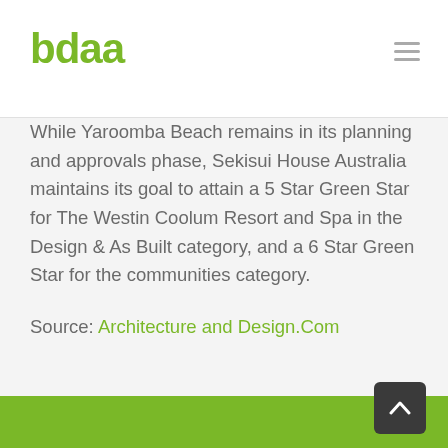[Figure (logo): bdaa logo in green rounded font]
While Yaroomba Beach remains in its planning and approvals phase, Sekisui House Australia maintains its goal to attain a 5 Star Green Star for The Westin Coolum Resort and Spa in the Design & As Built category, and a 6 Star Green Star for the communities category.
Source: Architecture and Design.Com